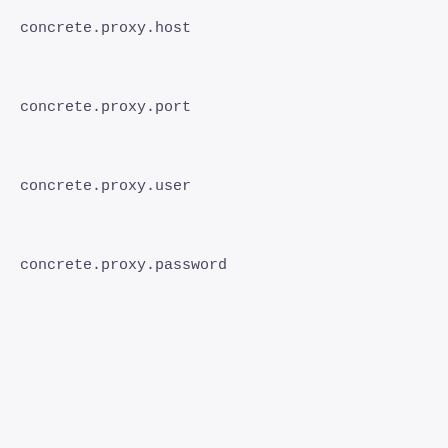concrete.proxy.host
concrete.proxy.port
concrete.proxy.user
concrete.proxy.password